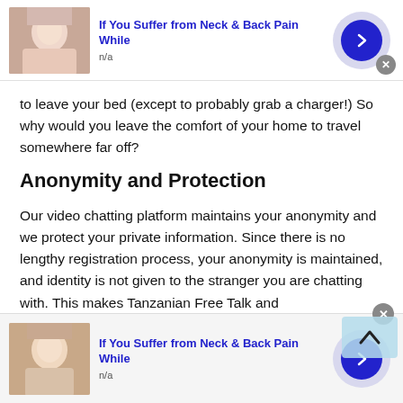[Figure (other): Advertisement banner at top: image of a woman with neck/back pain, title 'If You Suffer from Neck & Back Pain While', subtitle 'n/a', with a blue arrow button on the right and a close X button]
to leave your bed (except to probably grab a charger!) So why would you leave the comfort of your home to travel somewhere far off?
Anonymity and Protection
Our video chatting platform maintains your anonymity and we protect your private information. Since there is no lengthy registration process, your anonymity is maintained, and identity is not given to the stranger you are chatting with. This makes Tanzanian Free Talk and
[Figure (other): Scroll-to-top button overlay (caret/chevron up icon on light blue background)]
[Figure (other): Advertisement banner at bottom: image of a woman with neck/back pain, title 'If You Suffer from Neck & Back Pain While', subtitle 'n/a', with a blue arrow button and close X button]